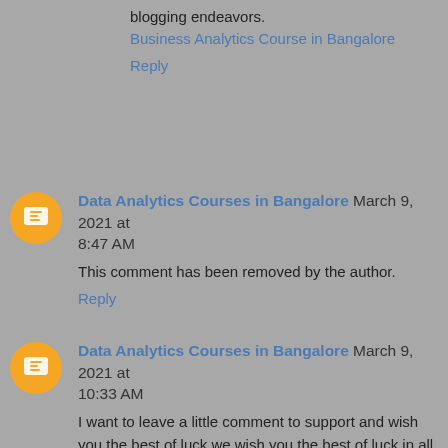blogging endeavors.
Business Analytics Course in Bangalore
Reply
Data Analytics Courses in Bangalore March 9, 2021 at 8:47 AM
This comment has been removed by the author.
Reply
Data Analytics Courses in Bangalore March 9, 2021 at 10:33 AM
I want to leave a little comment to support and wish you the best of luck.we wish you the best of luck in all your blogging enedevors.
Data Analytics Courses in Bangalore
Reply